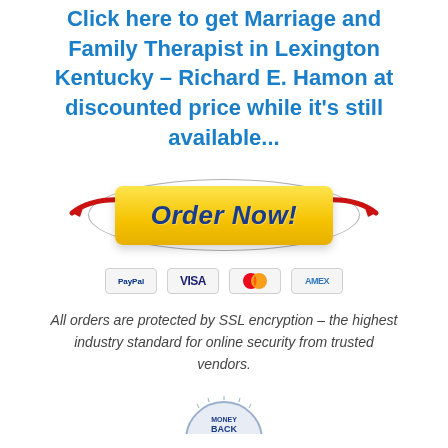Click here to get Marriage and Family Therapist in Lexington Kentucky – Richard E. Hamon at discounted price while it's still available...
[Figure (other): Yellow 'Order Now!' button with red arrows pointing to it from left and right, surrounded by an oval outline, with PayPal, Visa, Mastercard, and Amex payment icons below]
All orders are protected by SSL encryption – the highest industry standard for online security from trusted vendors.
[Figure (other): Money back guarantee badge (partially visible at bottom)]